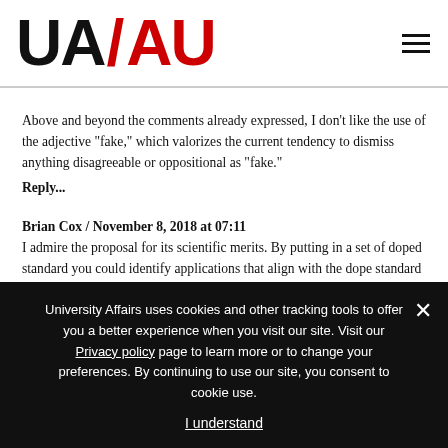UA/AU logo and navigation
Above and beyond the comments already expressed, I don't like the use of the adjective “fake,” which valorizes the current tendency to dismiss anything disagreeable or oppositional as “fake.”
Reply...
Brian Cox / November 8, 2018 at 07:11
I admire the proposal for its scientific merits. By putting in a set of doped standard you could identify applications that align with the dope standard in much more quantitative
University Affairs uses cookies and other tracking tools to offer you a better experience when you visit our site. Visit our Privacy policy page to learn more or to change your preferences. By continuing to use our site, you consent to cookie use.

I understand